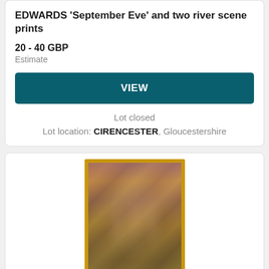EDWARDS 'September Eve' and two river scene prints
20 - 40 GBP
Estimate
VIEW
Lot closed
Lot location: CIRENCESTER, Gloucestershire
[Figure (photo): Framed painting with gold/brown frame showing an interior architectural scene with arches and columns, displayed in an auction listing card]
Lot 274